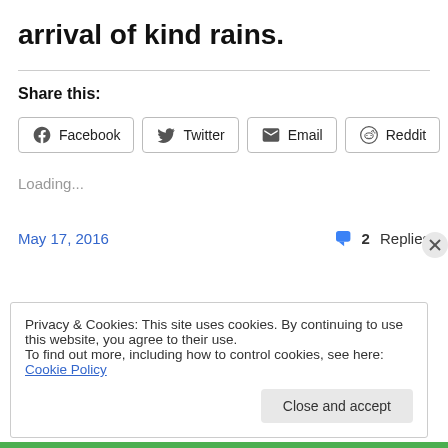arrival of kind rains.
Share this:
Facebook  Twitter  Email  Reddit
Loading...
May 17, 2016
2 Replies
Privacy & Cookies: This site uses cookies. By continuing to use this website, you agree to their use. To find out more, including how to control cookies, see here: Cookie Policy
Close and accept